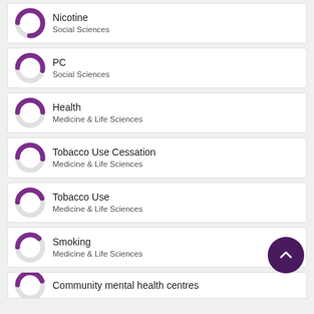Nicotine — Social Sciences
PC — Social Sciences
Health — Medicine & Life Sciences
Tobacco Use Cessation — Medicine & Life Sciences
Tobacco Use — Medicine & Life Sciences
Smoking — Medicine & Life Sciences
Community mental health centres